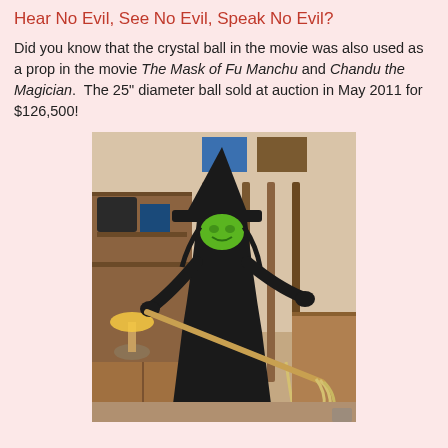Hear No Evil, See No Evil, Speak No Evil?
Did you know that the crystal ball in the movie was also used as a prop in the movie The Mask of Fu Manchu and Chandu the Magician.  The 25" diameter ball sold at auction in May 2011 for $126,500!
[Figure (photo): Person dressed as the Wicked Witch of the West with green face paint and black costume, holding a broom, posing in a room with multiple brooms hanging on the wall and decorative items on shelves.]